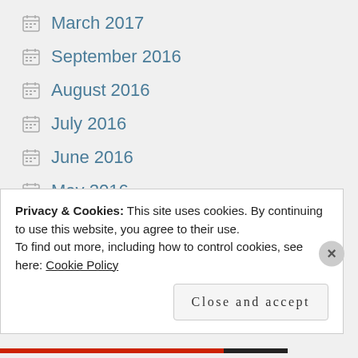March 2017
September 2016
August 2016
July 2016
June 2016
May 2016
April 2016
March 2016
February 2016
Privacy & Cookies: This site uses cookies. By continuing to use this website, you agree to their use.
To find out more, including how to control cookies, see here: Cookie Policy
Close and accept